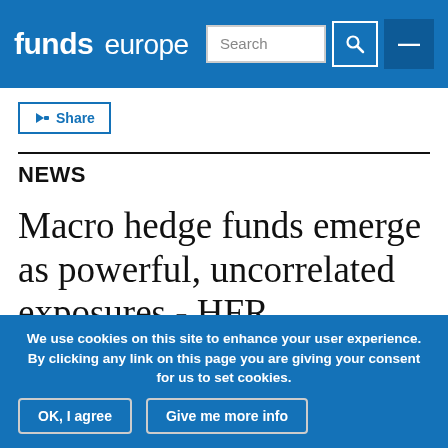funds europe
Share
NEWS
Macro hedge funds emerge as powerful, uncorrelated exposures - HFR
We use cookies on this site to enhance your user experience. By clicking any link on this page you are giving your consent for us to set cookies.
OK, I agree
Give me more info